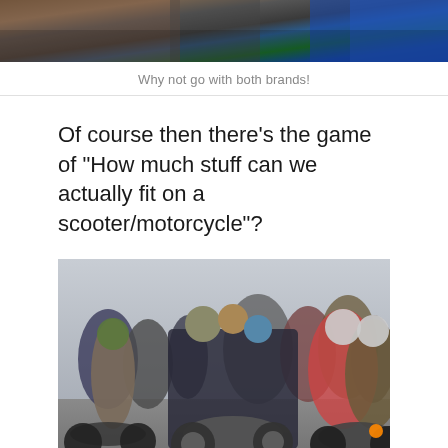[Figure (photo): Top portion of a photo showing a street scene, partially cropped at the top of the page]
Why not go with both brands!
Of course then there’s the game of “How much stuff can we actually fit on a scooter/motorcycle”?
[Figure (photo): Busy Asian street scene with many motorcycles and scooters; one motorcycle carries a family of four people including children, in a crowded traffic scene. Riders wear winter clothing and helmets.]